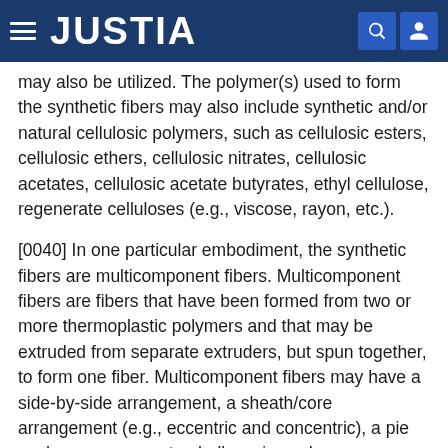JUSTIA
may also be utilized. The polymer(s) used to form the synthetic fibers may also include synthetic and/or natural cellulosic polymers, such as cellulosic esters, cellulosic ethers, cellulosic nitrates, cellulosic acetates, cellulosic acetate butyrates, ethyl cellulose, regenerate celluloses (e.g., viscose, rayon, etc.).
[0040] In one particular embodiment, the synthetic fibers are multicomponent fibers. Multicomponent fibers are fibers that have been formed from two or more thermoplastic polymers and that may be extruded from separate extruders, but spun together, to form one fiber. Multicomponent fibers may have a side-by-side arrangement, a sheath/core arrangement (e.g., eccentric and concentric), a pie wedge arrangement, a hollow pie wedge arrangement, island-in-the-sea, three island, bull's eye, or various other arrangements known in the art, and that the multicomponent fibers form